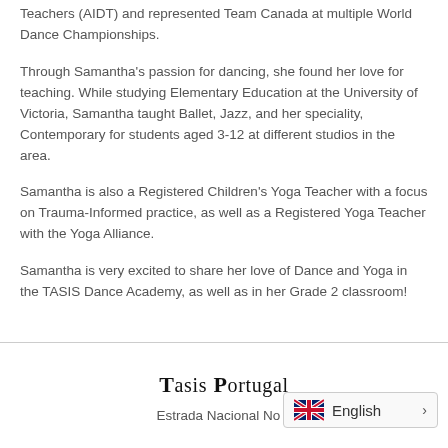Teachers (AIDT) and represented Team Canada at multiple World Dance Championships.
Through Samantha's passion for dancing, she found her love for teaching. While studying Elementary Education at the University of Victoria, Samantha taught Ballet, Jazz, and her speciality, Contemporary for students aged 3-12 at different studios in the area.
Samantha is also a Registered Children's Yoga Teacher with a focus on Trauma-Informed practice, as well as a Registered Yoga Teacher with the Yoga Alliance.
Samantha is very excited to share her love of Dance and Yoga in the TASIS Dance Academy, as well as in her Grade 2 classroom!
TASIS Portugal
Estrada Nacional No 9